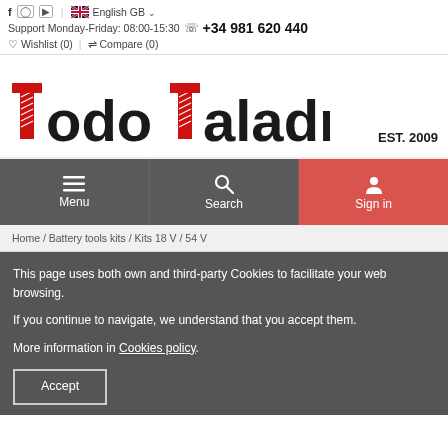f ⊙ ▶ | English GB ∨ | Support Monday-Friday: 08:00-15:30 ☎ +34 981 620 440 | ♡ Wishlist (0) | ⇌ Compare (0)
[Figure (logo): TodoTaladros logo with red T letters styled as screws and EST. 2009 text]
[Figure (screenshot): Navigation bar with Menu, Search, and Sign in buttons on dark gray background]
Home / Battery tools kits / Kits 18 V / 54 V
This page uses both own and third-party Cookies to facilitate your web browsing.

If you continue to navigate, we understand that you accept them.

More information in Cookies policy.
Accept